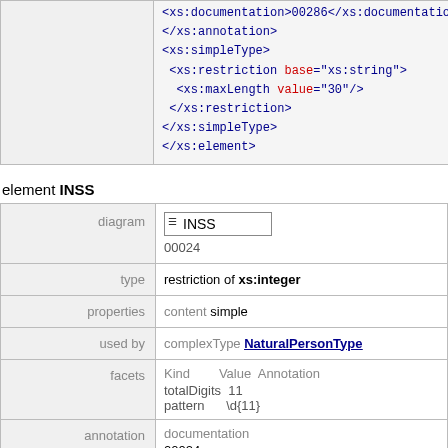<xs:documentation>00286</xs:documentation>
</xs:annotation>
<xs:simpleType>
  <xs:restriction base="xs:string">
    <xs:maxLength value="30"/>
  </xs:restriction>
</xs:simpleType>
</xs:element>
element INSS
|  |  |
| --- | --- |
| diagram | INSS
00024 |
| type | restriction of xs:integer |
| properties | content simple |
| used by | complexType NaturalPersonType |
| facets | Kind Value Annotation
totalDigits 11
pattern \d{11} |
| annotation | documentation
00024
appinfo |